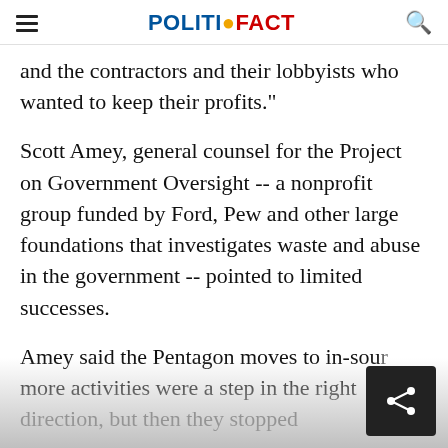POLITIFACT
and the contractors and their lobbyists who wanted to keep their profits."
Scott Amey, general counsel for the Project on Government Oversight -- a nonprofit group funded by Ford, Pew and other large foundations that investigates waste and abuse in the government -- pointed to limited successes.
Amey said the Pentagon moves to in-source more activities were a step in the right direction, but then they stopped